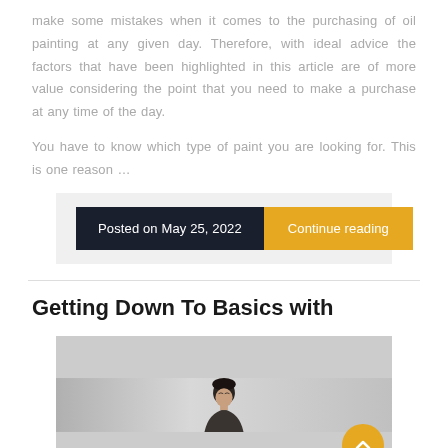make some mistakes when it comes to the purchasing of oil painting at any given day. Therefore, with ideal advice the factors that have been highlighted in this article are of more value considering the point that you need to make a purchase at any time of the day.
You have to know which type of paint you are looking for. This is one reason …
Posted on May 25, 2022   Continue reading
Getting Down To Basics with
[Figure (photo): A man with dark hair and glasses looking up, photographed against a light gray background. An orange circular scroll-to-top button is visible in the bottom-right corner.]